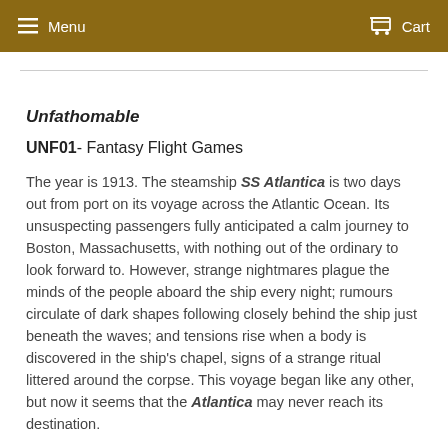Menu   Cart
Unfathomable
UNF01- Fantasy Flight Games
The year is 1913. The steamship SS Atlantica is two days out from port on its voyage across the Atlantic Ocean. Its unsuspecting passengers fully anticipated a calm journey to Boston, Massachusetts, with nothing out of the ordinary to look forward to. However, strange nightmares plague the minds of the people aboard the ship every night; rumours circulate of dark shapes following closely behind the ship just beneath the waves; and tensions rise when a body is discovered in the ship's chapel, signs of a strange ritual littered around the corpse. This voyage began like any other, but now it seems that the Atlantica may never reach its destination.